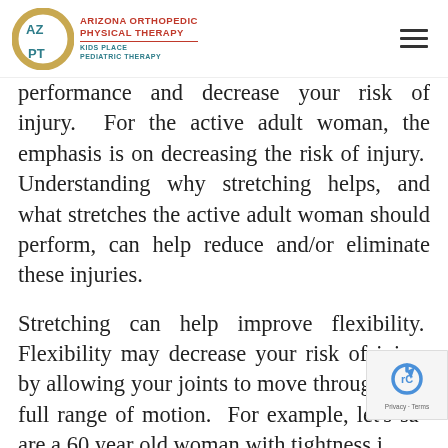Arizona Orthopedic Physical Therapy — Kids Place Pediatric Therapy
performance and decrease your risk of injury. For the active adult woman, the emphasis is on decreasing the risk of injury. Understanding why stretching helps, and what stretches the active adult woman should perform, can help reduce and/or eliminate these injuries.
Stretching can help improve flexibility. Flexibility may decrease your risk of injury by allowing your joints to move through their full range of motion. For example, let's say are a 60 year old woman with tightness in her